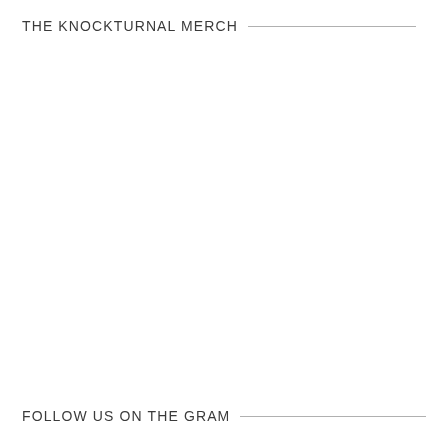THE KNOCKTURNAL MERCH
FOLLOW US ON THE GRAM